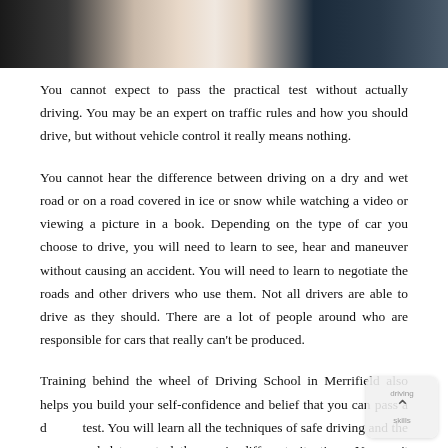[Figure (photo): Cropped photo showing people, partial view of clothing and hands, dark background]
You cannot expect to pass the practical test without actually driving. You may be an expert on traffic rules and how you should drive, but without vehicle control it really means nothing.
You cannot hear the difference between driving on a dry and wet road or on a road covered in ice or snow while watching a video or viewing a picture in a book. Depending on the type of car you choose to drive, you will need to learn to see, hear and maneuver without causing an accident. You will need to learn to negotiate the roads and other drivers who use them. Not all drivers are able to drive as they should. There are a lot of people around who are responsible for cars that really can't be produced.
Training behind the wheel of Driving School in Merrifield also helps you build your self-confidence and belief that you can pass a driving test. You will learn all the techniques of safe driving and the skills needed to control the car in different situations. You can't learn to drive